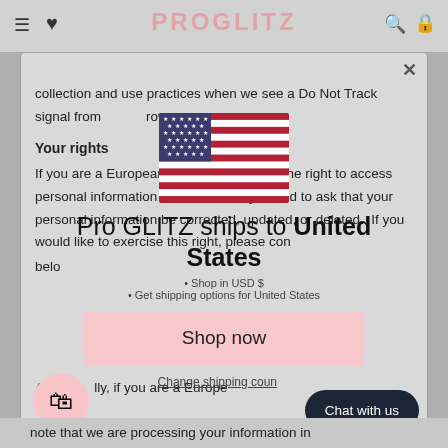PRO GLITZ
collection and use practices when we see a Do Not Track signal from your browser.
[Figure (infographic): US flag emoji/image centered in page]
Pro GLITZ ships to United States
Shop in USD $
Get shipping options for United States
Your rights
If you are a European resident, you have the right to access personal information we hold about you and to ask that your personal information be corrected, updated, or deleted. If you would like to exercise this right, please contact us through the contact information below.
Shop now
Change shipping country
Additionally, if you are a European resident,
note that we are processing your information in